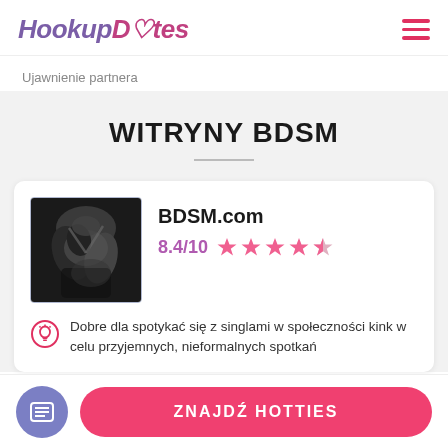HookupDotes
Ujawnienie partnera
WITRYNY BDSM
[Figure (photo): Black and white photo used as thumbnail for BDSM.com listing]
BDSM.com
8.4/10 ★★★★☆
Dobre dla spotykać się z singlami w społeczności kink w celu przyjemnych, nieformalnych spotkań
ZNAJDŹ HOTTIES